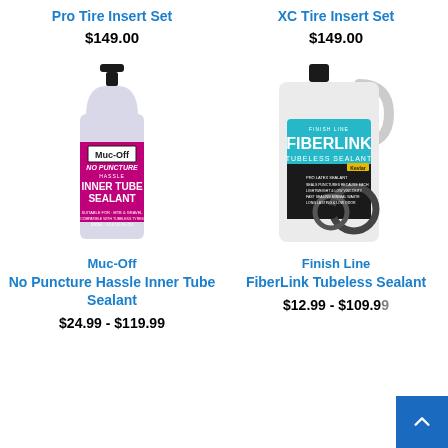Pro Tire Insert Set
$149.00
XC Tire Insert Set
$149.00
[Figure (photo): Muc-Off No Puncture Hassle Inner Tube Sealant bottle, pink label, black cap]
Muc-Off
No Puncture Hassle Inner Tube Sealant
$24.99 - $119.99
[Figure (photo): Finish Line FiberLink Tubeless Sealant large white jug with teal label]
Finish Line
FiberLink Tubeless Sealant
$12.99 - $109.99